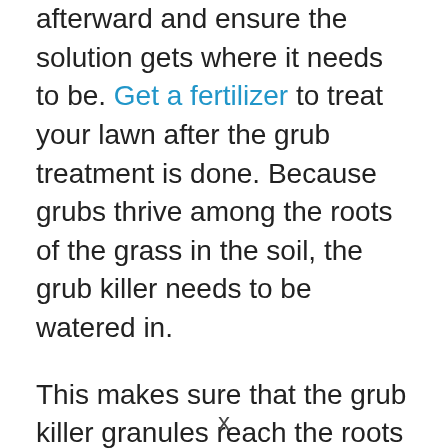afterward and ensure the solution gets where it needs to be. Get a fertilizer to treat your lawn after the grub treatment is done. Because grubs thrive among the roots of the grass in the soil, the grub killer needs to be watered in.
This makes sure that the grub killer granules reach the roots instead of just sitting on top of the grass. It is recommended to water about half an inch over the treated area right away.
It is also important to monitor your lawn for grubs or other activities during the
x